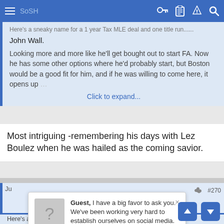SoSH (navigation bar)
Here's a sneaky name for a 1 year Tax MLE deal and one title run......
John Wall.
Looking more and more like he'll get bought out to start FA. Now he has some other options where he'd probably start, but Boston would be a good fit for him, and if he was willing to come here, it opens up
Click to expand...
Most intriguing -remembering his days with Lez Boulez when he was hailed as the coming savior.
Guest, I have a big favor to ask you. We've been working very hard to establish ourselves on social media. If you like/follow our pages it would be a HUGE help to us. SoSH on Facebook and Inside the Pylon Thanks! Nip
Here's a sneaky name for a 1 year Tax MLE deal and one title run